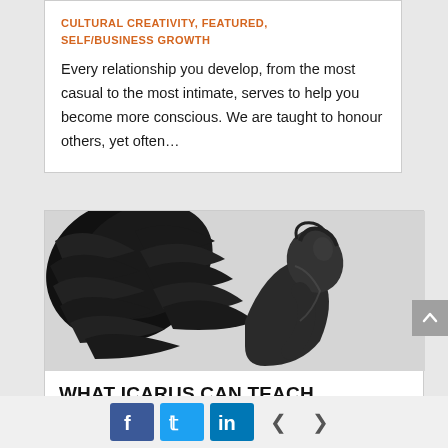CULTURAL CREATIVITY, FEATURED, SELF/BUSINESS GROWTH
Every relationship you develop, from the most casual to the most intimate, serves to help you become more conscious. We are taught to honour others, yet often...
[Figure (photo): Black and white photo of a bronze statue of Icarus with wings outstretched, looking upward]
WHAT ICARUS CAN TEACH